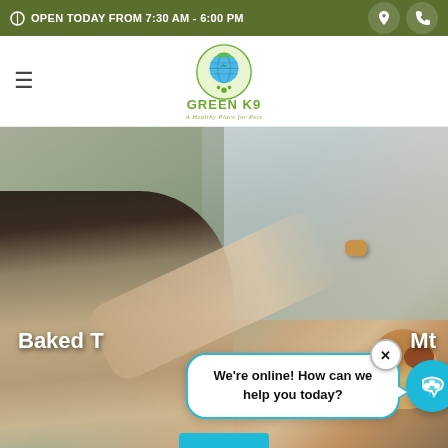OPEN TODAY FROM 7:30 AM - 6:00 PM
[Figure (logo): The Green K9 logo - green circle with globe and dog paw, text 'the GREEN K9', tagline 'A Healthy Place for Pets']
[Figure (photo): Woman smiling, arm extended holding a dog treat, with a dog visible on the right side. Outdoor background with trees/foliage.]
Baked T... Mt...
We're online! How can we help you today?